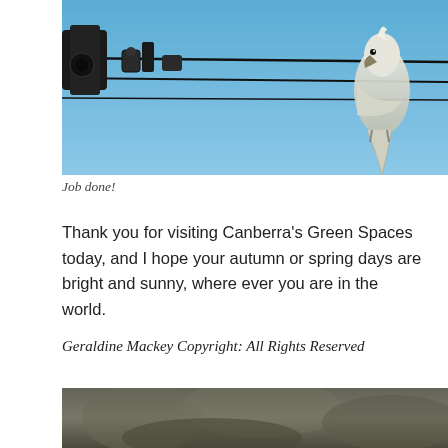[Figure (photo): Two white cockatoos perched on electrical wires and fittings against a blue sky, viewed from below at close range.]
Job done!
Thank you for visiting Canberra's Green Spaces today, and I hope your autumn or spring days are bright and sunny, where ever you are in the world.
Geraldine Mackey Copyright: All Rights Reserved
NOVEMBER 2, 2019
Canberra's Backyard Bird Count
[Figure (photo): Partial view of a bird (likely cockatoo) against a grey-green blurred background, cropped at bottom of page.]